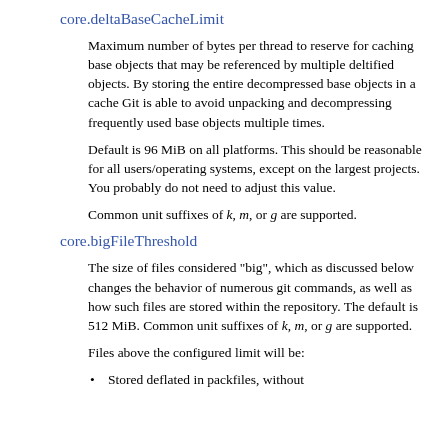core.deltaBaseCacheLimit
Maximum number of bytes per thread to reserve for caching base objects that may be referenced by multiple deltified objects. By storing the entire decompressed base objects in a cache Git is able to avoid unpacking and decompressing frequently used base objects multiple times.
Default is 96 MiB on all platforms. This should be reasonable for all users/operating systems, except on the largest projects. You probably do not need to adjust this value.
Common unit suffixes of k, m, or g are supported.
core.bigFileThreshold
The size of files considered "big", which as discussed below changes the behavior of numerous git commands, as well as how such files are stored within the repository. The default is 512 MiB. Common unit suffixes of k, m, or g are supported.
Files above the configured limit will be:
Stored deflated in packfiles, without